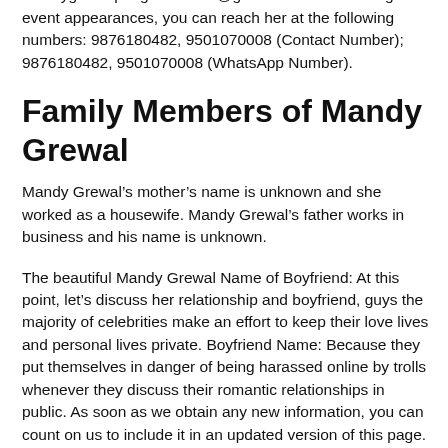Her private email address can be found at mandygrewalphagwara2021@gmail.com. For bookings and event appearances, you can reach her at the following numbers: 9876180482, 9501070008 (Contact Number); 9876180482, 9501070008 (WhatsApp Number).
Family Members of Mandy Grewal
Mandy Grewal’s mother’s name is unknown and she worked as a housewife. Mandy Grewal’s father works in business and his name is unknown.
The beautiful Mandy Grewal Name of Boyfriend: At this point, let’s discuss her relationship and boyfriend, guys the majority of celebrities make an effort to keep their love lives and personal lives private. Boyfriend Name: Because they put themselves in danger of being harassed online by trolls whenever they discuss their romantic relationships in public. As soon as we obtain any new information, you can count on us to include it in an updated version of this page.
The phrases “Mandy Grewal age: 24 years,” “Mandy Grewal